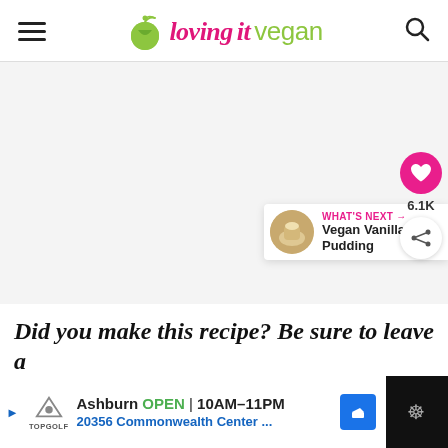loving it vegan
[Figure (photo): Large food photo placeholder area, light gray background]
6.1K
WHAT'S NEXT → Vegan Vanilla Pudding
Did you make this recipe? Be sure to leave a
[Figure (infographic): Advertisement bar: Topgolf Ashburn OPEN 10AM–11PM, 20356 Commonwealth Center...]